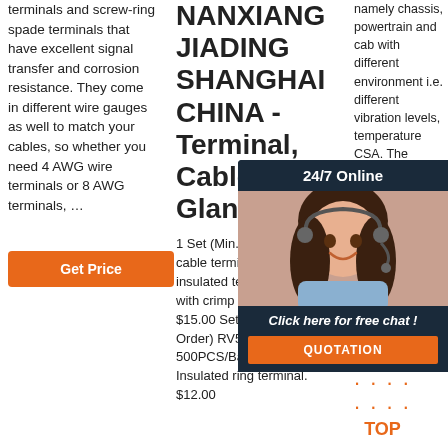terminals and screw-ring spade terminals that have excellent signal transfer and corrosion resistance. They come in different wire gauges as well to match your cables, so whether you need 4 AWG wire terminals or 8 AWG terminals, …
[Figure (other): Orange 'Get Price' button]
NANXIANG JIADING SHANGHAI CHINA - Terminal, Cable Gland
1 Set (Min. Order) 450 PCS cable termination kit insulated terminal spade kit with crimp tool. $14.00 - $15.00 Set. 1 Set (Min. Order) RV5.5-6 500PCS/Bag yellow PVC Insulated ring terminal. $12.00
namely chassis, powertrain and cab with different environment i.e. different vibration levels, temperature CSA. The chassis is located where it needs to deal with temperatures up to 125°C, vibrations, and have high current
[Figure (other): 24/7 Online chat widget with female customer service representative photo, 'Click here for free chat!' text, and orange QUOTATION button]
[Figure (other): Orange 'Get Price' button and orange TOP navigation button with dot decoration]
Click here for free chat !
QUOTATION